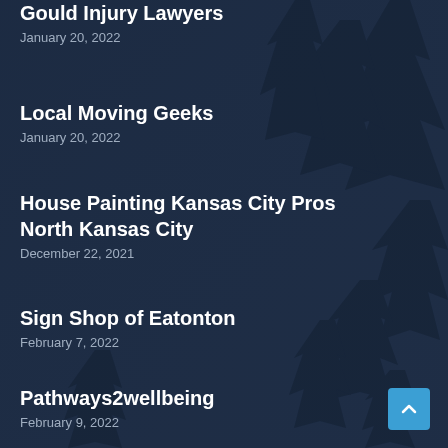Gould Injury Lawyers
January 20, 2022
Local Moving Geeks
January 20, 2022
House Painting Kansas City Pros North Kansas City
December 22, 2021
Sign Shop of Eatonton
February 7, 2022
Pathways2wellbeing
February 9, 2022